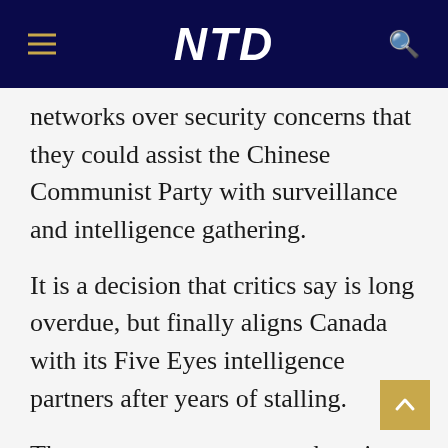NTD
networks over security concerns that they could assist the Chinese Communist Party with surveillance and intelligence gathering.
It is a decision that critics say is long overdue, but finally aligns Canada with its Five Eyes intelligence partners after years of stalling.
The government statement banning Huawei and ZTE reads that “The